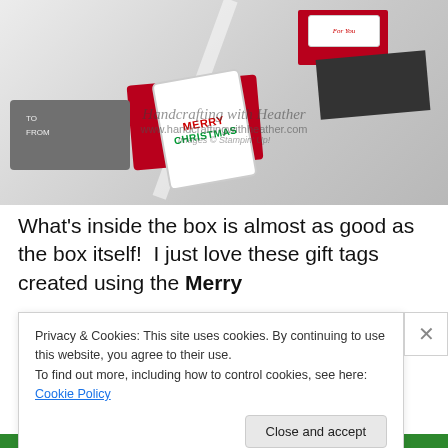[Figure (photo): Photo of handmade Christmas gift tags and boxes in red, gray, and white. Tags display 'Merry Christmas' and 'To/From' text. Watermark reads 'Handcrafting with Heather' and 'www.handcraftingwithheather.com'. Images © Stampin' Up!]
What's inside the box is almost as good as the box itself!  I just love these gift tags created using the Merry
Privacy & Cookies: This site uses cookies. By continuing to use this website, you agree to their use.
To find out more, including how to control cookies, see here: Cookie Policy
Close and accept